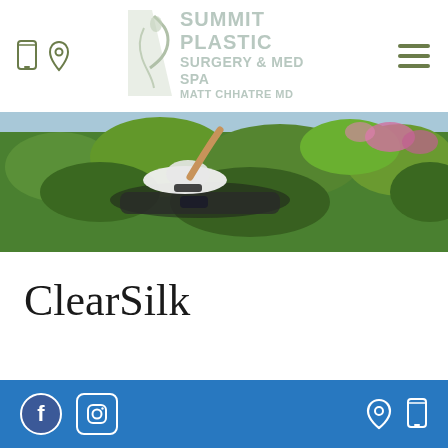[Figure (logo): Summit Plastic Surgery & Med Spa logo with Matt Chhatre MD. Logo shows an abstract profile/face icon on left side with text.]
[Figure (photo): Hero banner photo of a woman in a bikini and wide-brim hat reclining outdoors surrounded by lush green foliage and flowers.]
ClearSilk
Footer with Facebook icon, Instagram icon on left and location pin icon, mobile phone icon on right, on blue background.